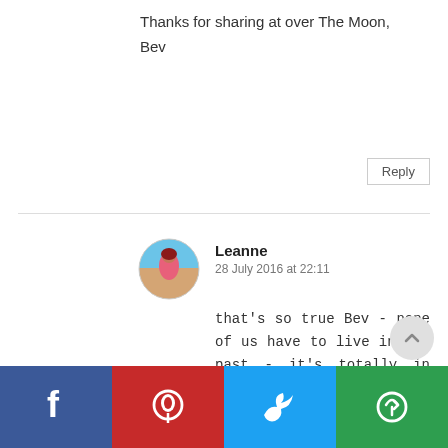Thanks for sharing at over The Moon,
Bev
Reply
Leanne
28 July 2016 at 22:11

that's so true Bev - none of us have to live in the past - it's totally in our hands and we get to choose.
Enter comment